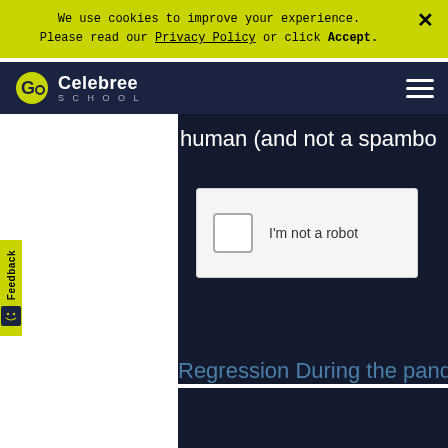We use cookies to improve your experience. Please read our Privacy Policy or click Accept.
Celebree School
human (and not a spambo
[Figure (screenshot): reCAPTCHA widget with checkbox and 'I'm not a robot' label on a light gray background]
Feedback
Regression During the pandemic